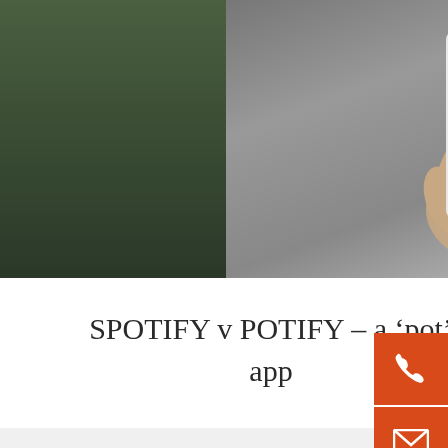[Figure (photo): Blog article card with a photo showing a hand holding a smartphone with an app screen, overlaid with a Medical Marijuana 100% Natural circular badge/logo in the top-left corner of the image.]
SPOTIFY v POTIFY – a ‘pot’ app
10. February 2022
[Figure (illustration): Orange sidebar with three icon buttons: phone (call), email (envelope), and list/menu icon.]